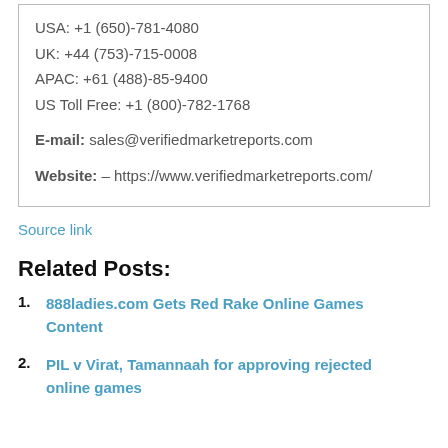USA: +1 (650)-781-4080
UK: +44 (753)-715-0008
APAC: +61 (488)-85-9400
US Toll Free: +1 (800)-782-1768

E-mail: sales@verifiedmarketreports.com

Website: – https://www.verifiedmarketreports.com/
Source link
Related Posts:
888ladies.com Gets Red Rake Online Games Content
PIL v Virat, Tamannaah for approving rejected online games